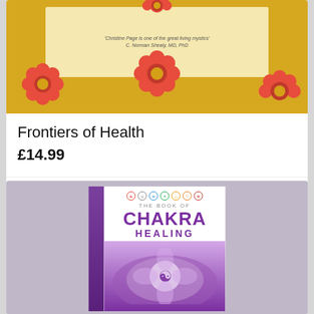[Figure (photo): Book cover of 'Frontiers of Health' with orange/yellow background, red daisy flowers, and a cream center panel with italic quote text]
Frontiers of Health
£14.99
Add to basket
Show Details
[Figure (photo): Book cover of 'The Book of Chakra Healing' with purple spine, chakra symbols across the top, large purple title text, and purple mandala/Om symbol artwork on the lower half]